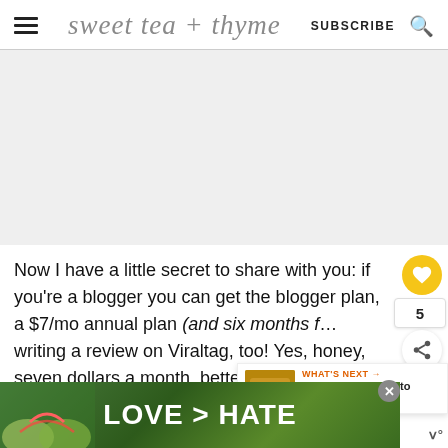sweet tea + thyme  SUBSCRIBE
[Figure (photo): Large light gray content/image area placeholder]
Now I have a little secret to share with you: if you're a blogger you can get the blogger plan, a $7/mo annual plan (and six months f... writing a review on Viraltag, too! Yes, honey, seven dollars a month, better than even the
[Figure (infographic): LOVE > HATE advertisement banner with hands forming a heart shape]
[Figure (infographic): What's Next popup: Top Pinterest Tips to Pins...]